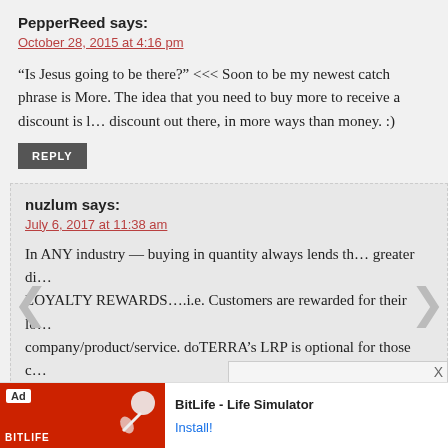PepperReed says:
October 28, 2015 at 4:16 pm
“Is Jesus going to be there?” <<< Soon to be my newest catch phrase is More. The idea that you need to buy more to receive a discount is l… discount out there, in more ways than money. :)
REPLY
nuzlum says:
July 6, 2017 at 11:38 am
In ANY industry — buying in quantity always lends the greater di… LOYALTY REWARDS….i.e. Customers are rewarded for their lo… company/product/service. doTERRA’s LRP is optional for those c… be purchasing oils more frequently and would like a steeper disco… wholesale prices they already receive. The quality of doTERRA is…
REPLY
[Figure (screenshot): Ad banner for BitLife - Life Simulator app with red background, Ad badge, sperm icon, and Install button]